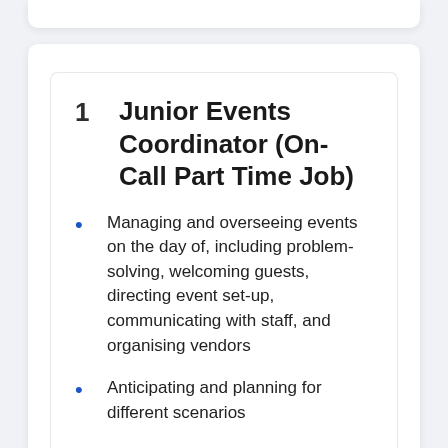1   Junior Events Coordinator (On-Call Part Time Job)
Managing and overseeing events on the day of, including problem-solving, welcoming guests, directing event set-up, communicating with staff, and organising vendors
Anticipating and planning for different scenarios
Maintaining a working relationship with vendors and venues